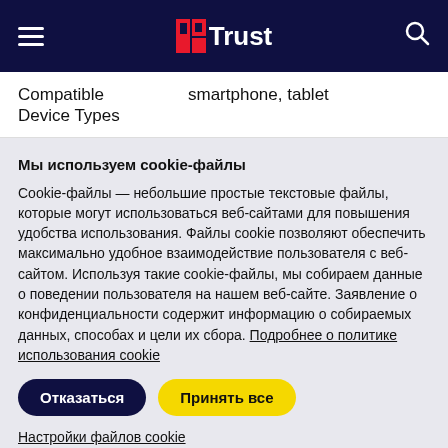[Figure (logo): Trust brand navigation bar with hamburger menu, Trust logo, and search icon on dark navy background]
| Compatible Device Types | smartphone, tablet |
| --- | --- |
Мы используем cookie-файлы
Cookie-файлы — небольшие простые текстовые файлы, которые могут использоваться веб-сайтами для повышения удобства использования. Файлы cookie позволяют обеспечить максимально удобное взаимодействие пользователя с веб-сайтом. Используя такие cookie-файлы, мы собираем данные о поведении пользователя на нашем веб-сайте. Заявление о конфиденциальности содержит информацию о собираемых данных, способах и цели их сбора. Подробнее о политике использования cookie
Отказаться   Принять все
Настройки файлов cookie